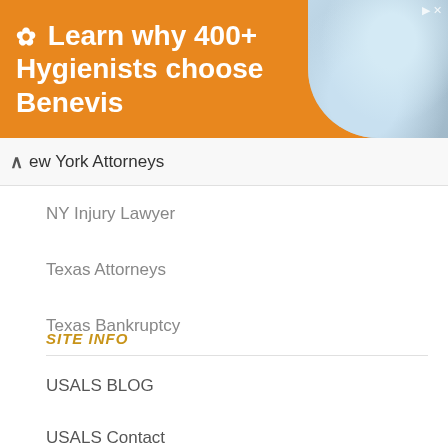[Figure (screenshot): Advertisement banner with orange background showing 'Learn why 400+ Hygienists choose Benevis' with dental image on right side]
ew York Attorneys
NY Injury Lawyer
Texas Attorneys
Texas Bankruptcy
SITE INFO
USALS BLOG
USALS Contact
LEGAL Resources